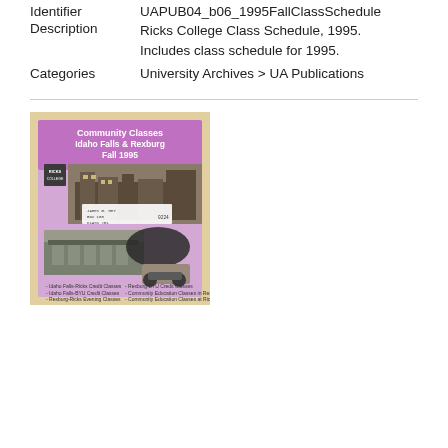Identifier   UAPUB04_b06_1995FallClassSchedule
DescriptionRicks College Class Schedule, 1995. Includes class schedule for 1995.
Categories University Archives > UA Publications
[Figure (photo): Cover of Ricks College Community Classes brochure for Idaho Falls & Rexburg, Fall 1995. Purple/lavender cover with photos of college buildings and a list of class types including Idaho Falls-Ricks Credit Classes, Idaho Falls-BYU Credit Classes, Rexburg-Ricks Evening Classes, Rexburg-BYU Credit Classes, Community Education Classes in Rexburg, Community Education Classes at Ricks College, Adult Pow-Wow Classes.]